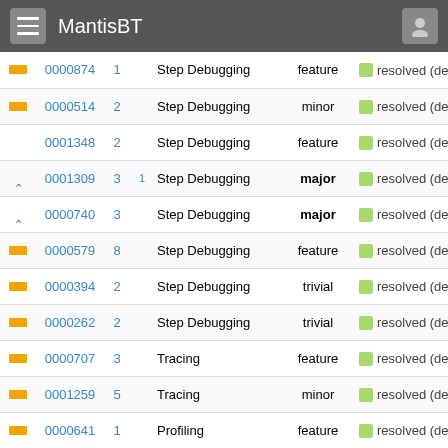MantisBT
| priority | id | count | dup | category | severity | status |
| --- | --- | --- | --- | --- | --- | --- |
| — | 0000874 | 1 |  | Step Debugging | feature | resolved (de |
| — | 0000514 | 2 |  | Step Debugging | minor | resolved (de |
|  | 0001348 | 2 |  | Step Debugging | feature | resolved (de |
| ▲ | 0001309 | 3 | 1 | Step Debugging | major | resolved (de |
| ▲ | 0000740 | 3 |  | Step Debugging | major | resolved (de |
| — | 0000579 | 8 |  | Step Debugging | feature | resolved (de |
| — | 0000394 | 2 |  | Step Debugging | trivial | resolved (de |
| — | 0000262 | 2 |  | Step Debugging | trivial | resolved (de |
| — | 0000707 | 3 |  | Tracing | feature | resolved (de |
| — | 0001259 | 5 |  | Tracing | minor | resolved (de |
| — | 0000641 | 1 |  | Profiling | feature | resolved (de |
| — | 0000336 | 2 |  | Profiling | major | resolved (de |
| — | 0000768 | 4 |  | Uncategorized | minor | resolved (de |
| — | 0000504 | 1 |  | Uncategorized | major | resolved (de |